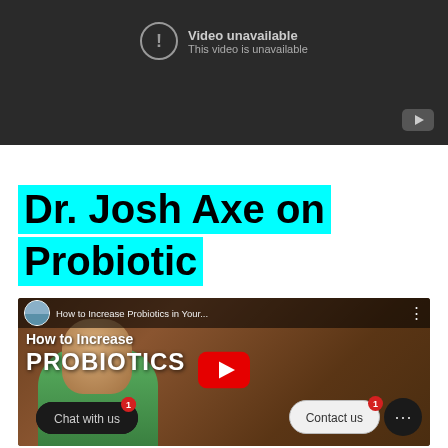[Figure (screenshot): YouTube video unavailable placeholder with dark grey background, exclamation circle icon, text 'Video unavailable / This video is unavailable', and small YouTube logo in bottom right corner.]
Dr. Josh Axe on Probiotic
[Figure (screenshot): YouTube video thumbnail for 'How to Increase Probiotics in Your...' showing a man in a green shirt, with overlay text 'How to Increase PROBIOTICS', a red YouTube play button, a 'Chat with us' dark pill button, a 'Contact us' pill button, and a chat circle button with notification badges.]